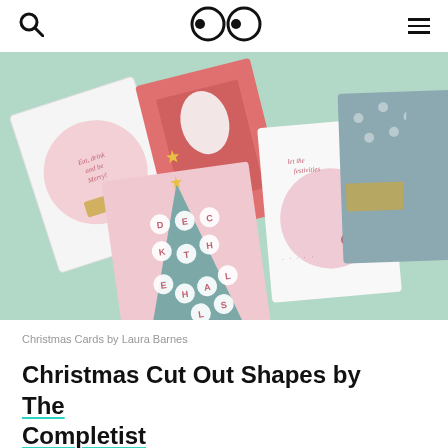🔍 👀 ≡
[Figure (photo): Photograph of multiple Christmas cards laid out on a light green surface, including cards reading 'Eat drink and be merry', 'Deck the Halls' with a tree, 'Let the festivities begin' with a gin illustration, and grey polka-dot cards.]
Christmas Cards by Laura Barnes
Christmas Cut Out Shapes by The Completist